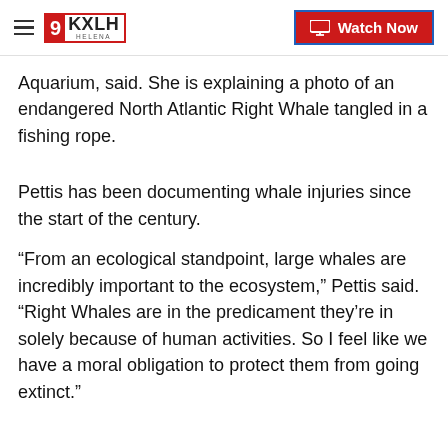9KXLH HELENA | Watch Now
Aquarium, said. She is explaining a photo of an endangered North Atlantic Right Whale tangled in a fishing rope.
Pettis has been documenting whale injuries since the start of the century.
“From an ecological standpoint, large whales are incredibly important to the ecosystem,” Pettis said. “Right Whales are in the predicament they’re in solely because of human activities. So I feel like we have a moral obligation to protect them from going extinct.”